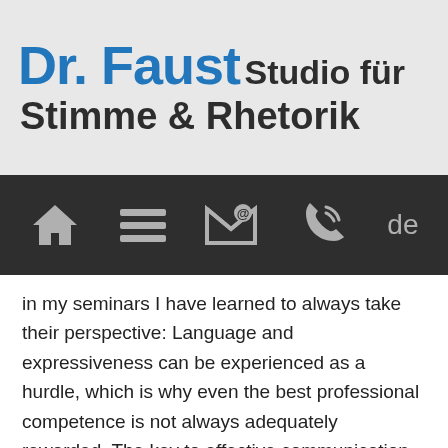Dr. Faust Studio für Stimme & Rhetorik
[Figure (other): Navigation bar with icons: home, hamburger menu, email, phone, and language selector 'de']
in my seminars I have learned to always take their perspective: Language and expressiveness can be experienced as a hurdle, which is why even the best professional competence is not always adequately rewarded. The key to effective communication, recognition and success lies in language and expressiveness.